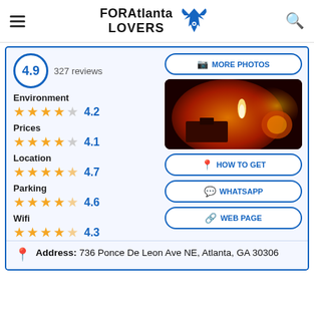FORAtlanta LOVERS
4.9  327 reviews
Environment  ★★★★☆  4.2
Prices  ★★★★☆  4.1
Location  ★★★★★  4.7
Parking  ★★★★½  4.6
Wifi  ★★★★½  4.3
[Figure (photo): Restaurant interior photo with warm red/orange lighting, showing food being cooked or served]
MORE PHOTOS
HOW TO GET
WHATSAPP
WEB PAGE
Address: 736 Ponce De Leon Ave NE, Atlanta, GA 30306